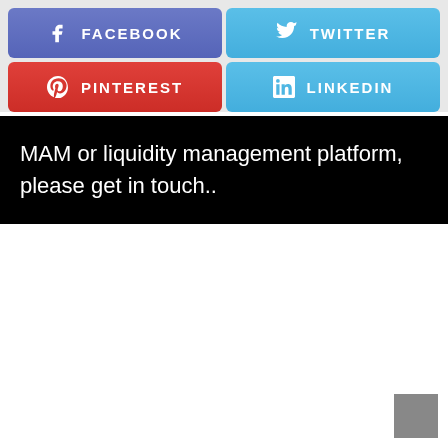[Figure (infographic): Four social media buttons in a 2x2 grid: Facebook (purple-blue), Twitter (light blue), Pinterest (red), LinkedIn (light blue), each with icon and text label in uppercase white letters]
MAM or liquidity management platform, please get in touch..